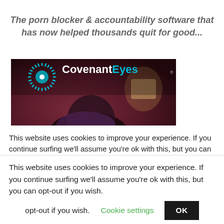The porn blocker & accountability software that has now helped thousands quit for good...
[Figure (photo): CovenantEyes logo and branding image overlaid on a photo of a person looking down at a screen in a darkened room with reddish-purple lighting.]
This website uses cookies to improve your experience. If you continue surfing we'll assume you're ok with this, but you can opt-out if you wish.
Cookie settings
OK